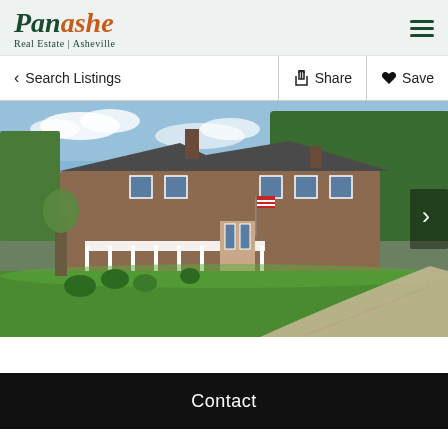[Figure (logo): Panashe Real Estate Asheville logo]
Search Listings
Share
Save
[Figure (photo): Exterior photo of a large brick colonial-style house with green landscaped lawn, curved driveway, and wooded hillside background]
Contact